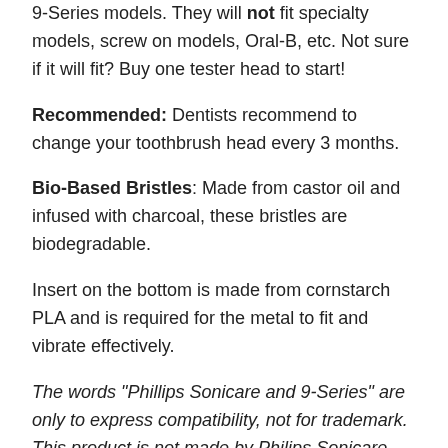9-Series models. They will not fit specialty models, screw on models, Oral-B, etc. Not sure if it will fit? Buy one tester head to start!
Recommended: Dentists recommend to change your toothbrush head every 3 months.
Bio-Based Bristles: Made from castor oil and infused with charcoal, these bristles are biodegradable.
Insert on the bottom is made from cornstarch PLA and is required for the metal to fit and vibrate effectively.
The words "Phillips Sonicare and 9-Series" are only to express compatibility, not for trademark. This product is not made by Philips Sonicare.
Packaging: Kraft ...